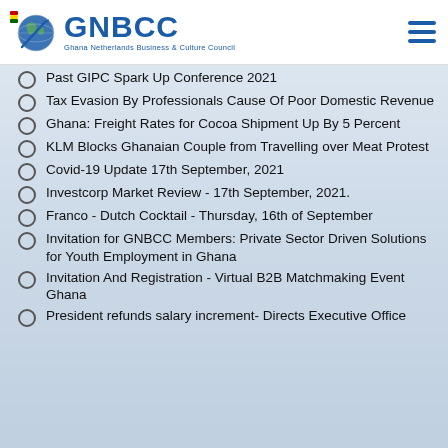[Figure (logo): GNBCC - Ghana Netherlands Business & Culture Council logo with globe graphic]
Past GIPC Spark Up Conference 2021
Tax Evasion By Professionals Cause Of Poor Domestic Revenue
Ghana: Freight Rates for Cocoa Shipment Up By 5 Percent
KLM Blocks Ghanaian Couple from Travelling over Meat Protest
Covid-19 Update 17th September, 2021
Investcorp Market Review - 17th September, 2021.
Franco - Dutch Cocktail - Thursday, 16th of September
Invitation for GNBCC Members: Private Sector Driven Solutions for Youth Employment in Ghana
Invitation And Registration - Virtual B2B Matchmaking Event Ghana
President refunds salary increment- Directs Executive Office